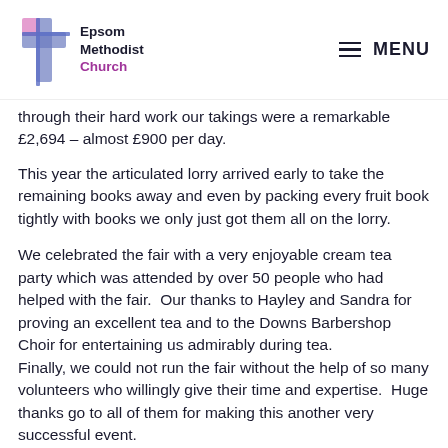Epsom Methodist Church | MENU
through their hard work our takings were a remarkable £2,694 – almost £900 per day.
This year the articulated lorry arrived early to take the remaining books away and even by packing every fruit book tightly with books we only just got them all on the lorry.
We celebrated the fair with a very enjoyable cream tea party which was attended by over 50 people who had helped with the fair.  Our thanks to Hayley and Sandra for proving an excellent tea and to the Downs Barbershop Choir for entertaining us admirably during tea. Finally, we could not run the fair without the help of so many volunteers who willingly give their time and expertise.  Huge thanks go to all of them for making this another very successful event.
Andrew Jennings and Jacqui Raggett